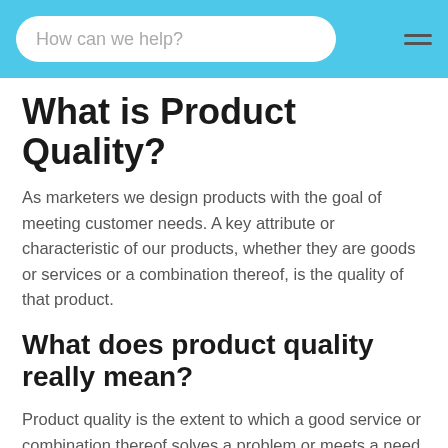How can we help?
What is Product Quality?
As marketers we design products with the goal of meeting customer needs. A key attribute or characteristic of our products, whether they are goods or services or a combination thereof, is the quality of that product.
What does product quality really mean?
Product quality is the extent to which a good service or combination thereof solves a problem or meets a need. For a product to have any real value, it has to have some kind of quality or, hopefully, a high level of quality. In other words it needs to actually solve a problem for the consumer or meet a need. Realizing that your product...